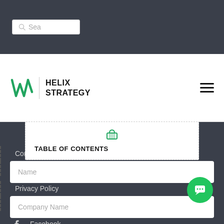[Figure (screenshot): Search bar input with magnifying glass icon and 'Sea' placeholder text on dark background]
[Figure (logo): Helix Strategy logo with green W-shaped icon and HELIX STRATEGY text]
[Figure (other): Hamburger menu icon (three horizontal lines)]
TABLE OF CONTENTS
Contact Us
Report Store
Privacy Policy
Terms and Conditions
Facebook
Twitter
Name
Company Name